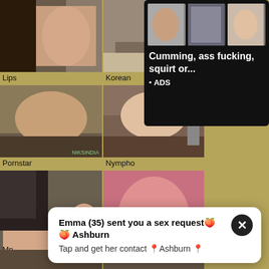[Figure (photo): Thumbnail grid item: Lips category]
Lips
[Figure (photo): Thumbnail grid item: Korean category]
Korean
[Figure (photo): Thumbnail grid item: Pornstar category]
Pornstar
[Figure (photo): Thumbnail grid item: Nympho category]
Nympho
[Figure (photo): Thumbnail grid item: Mn category (partial)]
Mn
[Figure (screenshot): Advertisement overlay showing multiple thumbnails with text: Cumming, ass fucking, squirt or... • ADS]
Cumming, ass fucking, squirt or... • ADS
[Figure (screenshot): Popup notification: Emma (35) sent you a sex request from Ashburn. Tap and get her contact in Ashburn.]